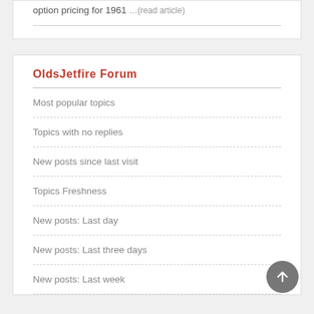option pricing for 1961 ...(read article)
OldsJetfire Forum
Most popular topics
Topics with no replies
New posts since last visit
Topics Freshness
New posts: Last day
New posts: Last three days
New posts: Last week